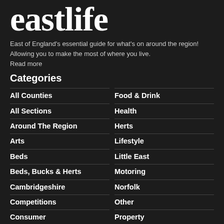eastlife
East of England's essential guide for what's on around the region! Allowing you to make the most of where you live.
Read more
Categories
All Counties
Food & Drink
All Sections
Health
Around The Region
Herts
Arts
Lifestyle
Beds
Little East
Beds, Bucks & Herts
Motoring
Cambridgeshire
Norfolk
Competitions
Other
Consumer
Property
Dog-Friendly
Publications
Education
...